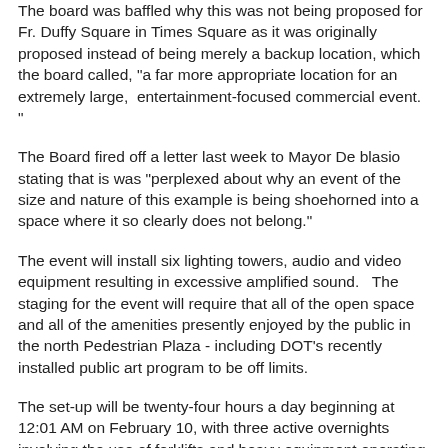The board was baffled why this was not being proposed for Fr. Duffy Square in Times Square as it was originally proposed instead of being merely a backup location, which the board called, "a far more appropriate location for an extremely large,  entertainment-focused commercial event. "
The Board fired off a letter last week to Mayor De blasio stating that is was "perplexed about why an event of the size and nature of this example is being shoehorned into a space where it so clearly does not belong."
The event will install six lighting towers, audio and video equipment resulting in excessive amplified sound.   The staging for the event will require that all of the open space and all of the amenities presently enjoyed by the public in the north Pedestrian Plaza - including DOT's recently installed public art program to be off limits.
The set-up will be twenty-four hours a day beginning at 12:01 AM on February 10, with three active overnights involving the use of forklifts and heavy equipment operating in close proximity to residential buildings and scores of local